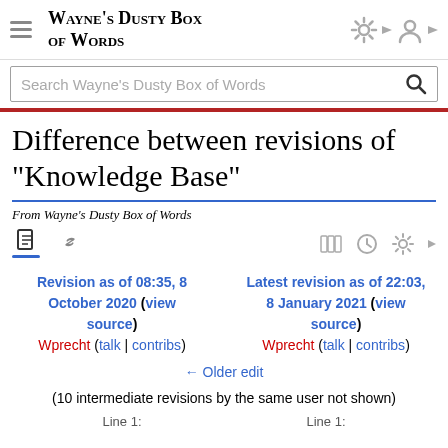Wayne's Dusty Box of Words
Search Wayne's Dusty Box of Words
Difference between revisions of "Knowledge Base"
From Wayne's Dusty Box of Words
Revision as of 08:35, 8 October 2020 (view source)
Wprecht (talk | contribs)
← Older edit
Latest revision as of 22:03, 8 January 2021 (view source)
Wprecht (talk | contribs)
(10 intermediate revisions by the same user not shown)